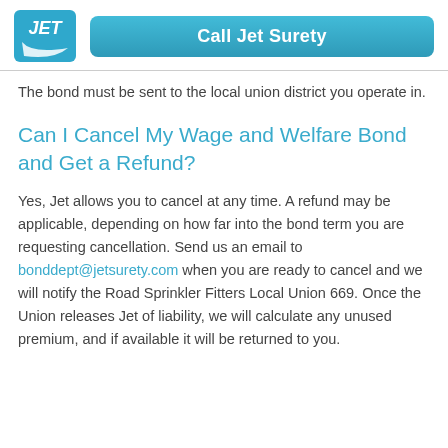Call Jet Surety
The bond must be sent to the local union district you operate in.
Can I Cancel My Wage and Welfare Bond and Get a Refund?
Yes, Jet allows you to cancel at any time. A refund may be applicable, depending on how far into the bond term you are requesting cancellation. Send us an email to bonddept@jetsurety.com when you are ready to cancel and we will notify the Road Sprinkler Fitters Local Union 669. Once the Union releases Jet of liability, we will calculate any unused premium, and if available it will be returned to you.